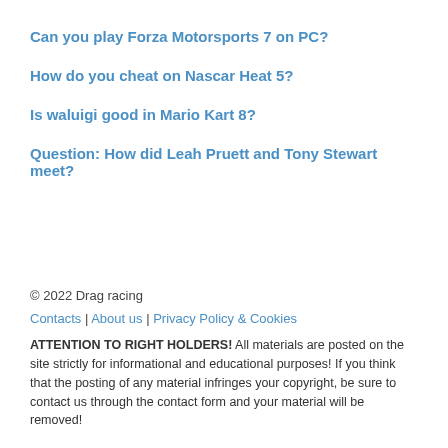Can you play Forza Motorsports 7 on PC?
How do you cheat on Nascar Heat 5?
Is waluigi good in Mario Kart 8?
Question: How did Leah Pruett and Tony Stewart meet?
© 2022 Drag racing
Contacts | About us | Privacy Policy & Cookies
ATTENTION TO RIGHT HOLDERS! All materials are posted on the site strictly for informational and educational purposes! If you think that the posting of any material infringes your copyright, be sure to contact us through the contact form and your material will be removed!